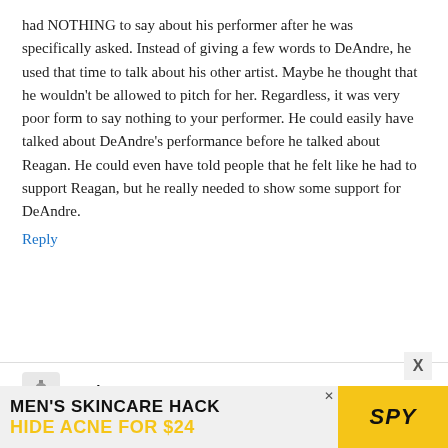had NOTHING to say about his performer after he was specifically asked. Instead of giving a few words to DeAndre, he used that time to talk about his other artist. Maybe he thought that he wouldn't be allowed to pitch for her. Regardless, it was very poor form to say nothing to your performer. He could easily have talked about DeAndre's performance before he talked about Reagan. He could even have told people that he felt like he had to support Reagan, but he really needed to show some support for DeAndre.
Reply
[Figure (illustration): Small avatar icon of a liberty bell]
wesley69 says:
December 9, 2018 at 7:06 AM
Makes no difference what went before. Regan was in the bottom 3 and HAD A CHOICE. She choose NOT to perform and then expected Adam to plead
[Figure (other): Advertisement banner: MEN'S SKINCARE HACK HIDE ACNE FOR $24 with SPY logo on yellow background]